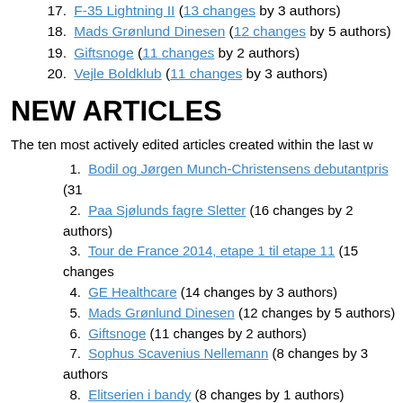17. F-35 Lightning II (13 changes by 3 authors)
18. Mads Grønlund Dinesen (12 changes by 5 authors)
19. Giftsnoge (11 changes by 2 authors)
20. Vejle Boldklub (11 changes by 3 authors)
NEW ARTICLES
The ten most actively edited articles created within the last w
1. Bodil og Jørgen Munch-Christensens debutantpris (31
2. Paa Sjølunds fagre Sletter (16 changes by 2 authors)
3. Tour de France 2014, etape 1 til etape 11 (15 changes
4. GE Healthcare (14 changes by 3 authors)
5. Mads Grønlund Dinesen (12 changes by 5 authors)
6. Giftsnoge (11 changes by 2 authors)
7. Sophus Scavenius Nellemann (8 changes by 3 authors
8. Elitserien i bandy (8 changes by 1 authors)
9. Pierce the Veil (7 changes by 1 authors)
10. Folkerepublikken Donetsk (7 changes by 3 authors)